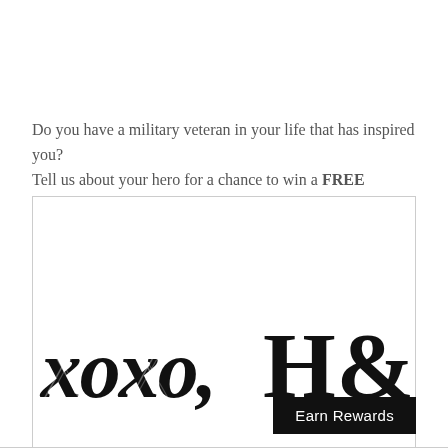Do you have a military veteran in your life that has inspired you? Tell us about your hero for a chance to win a FREE headwrap!
[Figure (logo): Handwritten style logo text reading 'xoxo, H&P' in bold brush lettering on white background inside a bordered box.]
Earn Rewards